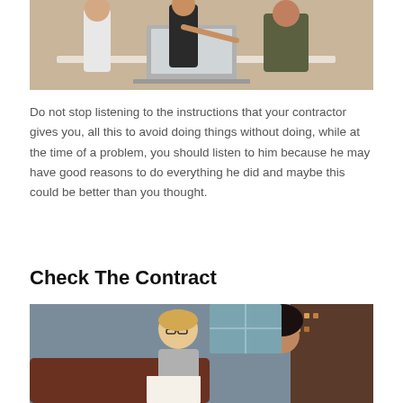[Figure (photo): Three people around a desk with a laptop, one person pointing at the screen, beige background]
Do not stop listening to the instructions that your contractor gives you, all this to avoid doing things without doing, while at the time of a problem, you should listen to him because he may have good reasons to do everything he did and maybe this could be better than you thought.
Check The Contract
[Figure (photo): Two women sitting together reviewing documents, one wearing glasses and smiling, office/meeting room setting]